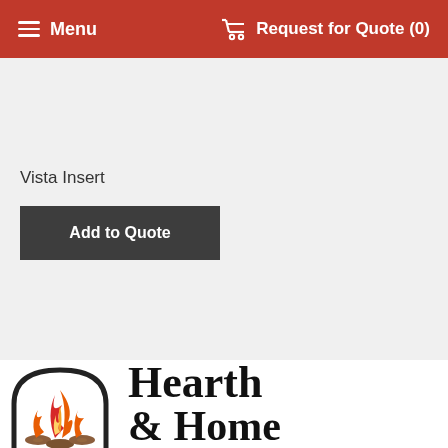Menu   Request for Quote (0)
Vista Insert
Add to Quote
[Figure (logo): Hearth & Home logo with flame and logs inside an arch, with bold serif text 'Hearth & Home']